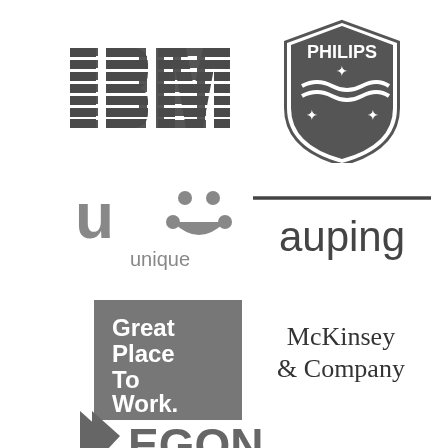[Figure (logo): IBM striped logo in dark grey]
[Figure (logo): Philips shield logo with star and waves in dark grey]
[Figure (logo): Unique logo - stylized u with two dots and word 'unique' below in grey]
[Figure (logo): auping logo - lowercase text with overline in dark grey]
[Figure (logo): Great Place To Work logo - white text on grey square]
[Figure (logo): McKinsey & Company logo in serif text]
[Figure (logo): EGON logo partially visible at bottom with arrow/chevron]